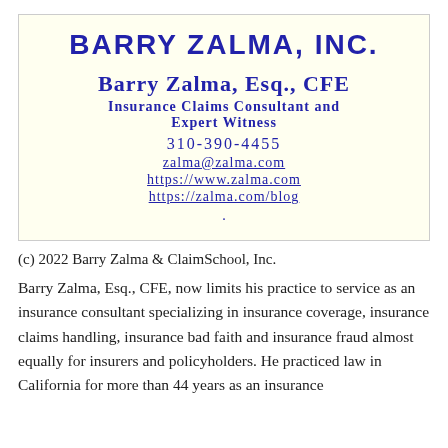[Figure (other): Business card for Barry Zalma, Inc. with name, title, phone, email, and website links on cream background]
(c) 2022 Barry Zalma & ClaimSchool, Inc.
Barry Zalma, Esq., CFE, now limits his practice to service as an insurance consultant specializing in insurance coverage, insurance claims handling, insurance bad faith and insurance fraud almost equally for insurers and policyholders. He practiced law in California for more than 44 years as an insurance